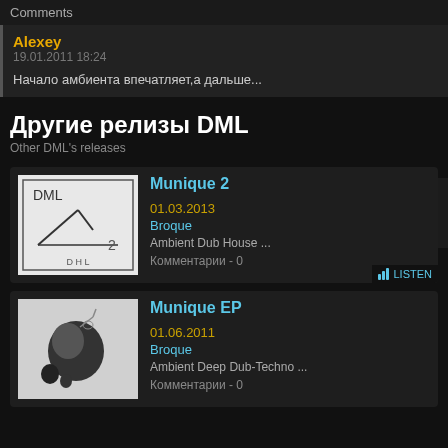Comments
Alexey
19.01.2011 18:24
Начало амбиента впечатляет,а дальше...
Комментировать | Leave a
Для автоматического заполнения формы за
Другие релизы DML
Other DML's releases
Munique 2
01.03.2013
Broque
Ambient Dub House ...
Комментарии - 0
Munique EP
01.06.2011
Broque
Ambient Deep Dub-Techno ...
Комментарии - 0